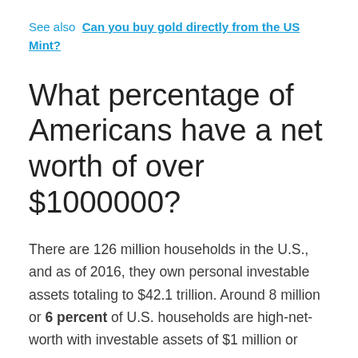See also  Can you buy gold directly from the US Mint?
What percentage of Americans have a net worth of over $1000000?
There are 126 million households in the U.S., and as of 2016, they own personal investable assets totaling to $42.1 trillion. Around 8 million or 6 percent of U.S. households are high-net-worth with investable assets of $1 million or more.